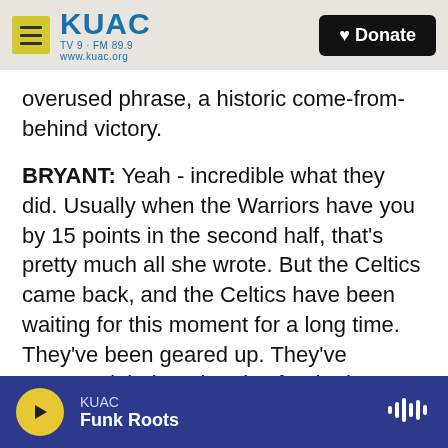KUAC TV9 FM 89.9 www.kuac.org | Donate
overused phrase, a historic come-from-behind victory.
BRYANT: Yeah - incredible what they did. Usually when the Warriors have you by 15 points in the second half, that's pretty much all she wrote. But the Celtics came back, and the Celtics have been waiting for this moment for a long time. They've been geared up. They've patterned their entire play for the last seven years against the Warriors. The Warriors are - they've been the model. And so the Celtics really have tried to do what the Warriors have done. They - to be able to to take the Warriors
KUAC | Funk Roots